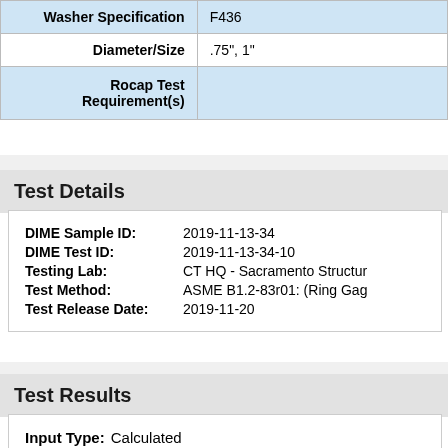| Field | Value |
| --- | --- |
| Washer Specification | F436 |
| Diameter/Size | .75", 1" |
| Rocap Test Requirement(s) |  |
Test Details
DIME Sample ID: 2019-11-13-34
DIME Test ID: 2019-11-13-34-10
Testing Lab: CT HQ - Sacramento Structu...
Test Method: ASME B1.2-83r01: (Ring Gag...
Test Release Date: 2019-11-20
Test Results
Input Type: Calculated